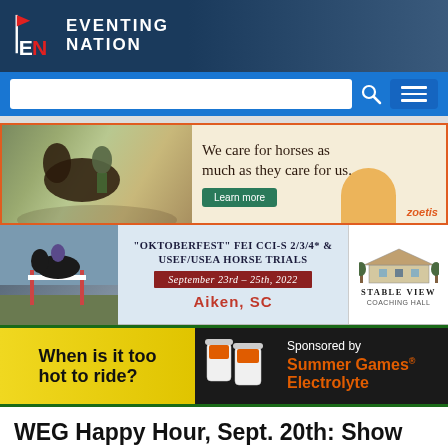[Figure (logo): Eventing Nation logo with EN mark and site name]
[Figure (screenshot): Search bar and hamburger menu navigation bar]
[Figure (infographic): Zoetis advertisement banner: We care for horses as much as they care for us. Learn more.]
[Figure (infographic): Stable View Oktoberfest FEI CCI-S 2/3/4* & USEF/USEA Horse Trials advertisement, September 23rd-25th, 2022, Aiken, SC]
[Figure (infographic): When is it too hot to ride? Sponsored by Summer Games Electrolyte advertisement]
WEG Happy Hour, Sept. 20th: Show Jumping, Para Dressage & Vaulting
By Biz Stamm on Sep 20, 2018 8:00 pm · 1,028 views